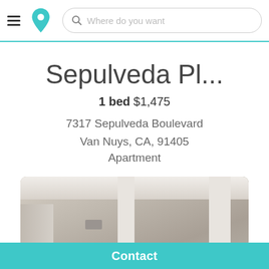Where do you want
Sepulveda Pl...
1 bed $1,475
7317 Sepulveda Boulevard
Van Nuys, CA, 91405
Apartment
[Figure (photo): Interior photo of an apartment showing ceiling, walls with white columns/pilasters, and a doorway. Neutral beige/tan tones.]
Contact